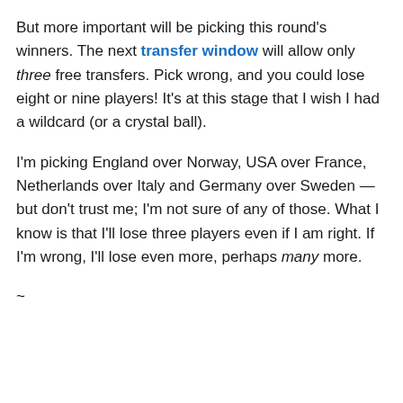But more important will be picking this round's winners. The next transfer window will allow only three free transfers. Pick wrong, and you could lose eight or nine players! It's at this stage that I wish I had a wildcard (or a crystal ball).
I'm picking England over Norway, USA over France, Netherlands over Italy and Germany over Sweden — but don't trust me; I'm not sure of any of those. What I know is that I'll lose three players even if I am right. If I'm wrong, I'll lose even more, perhaps many more.
~